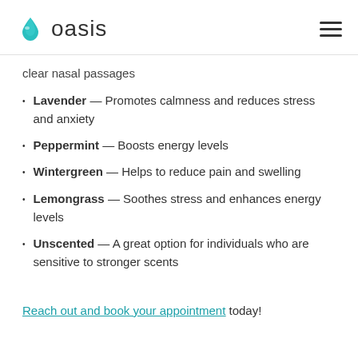oasis
clear nasal passages
Lavender — Promotes calmness and reduces stress and anxiety
Peppermint — Boosts energy levels
Wintergreen — Helps to reduce pain and swelling
Lemongrass — Soothes stress and enhances energy levels
Unscented — A great option for individuals who are sensitive to stronger scents
Reach out and book your appointment today!